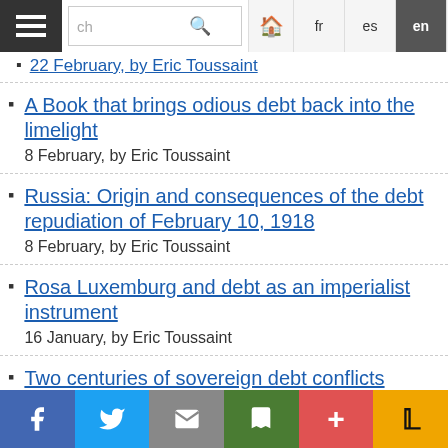Navigation bar with hamburger menu, search, home, and language buttons: fr, es, en (active), pt, it, de, Arabic
22 February, by Eric Toussaint
A Book that brings odious debt back into the limelight
8 February, by Eric Toussaint
Russia: Origin and consequences of the debt repudiation of February 10, 1918
8 February, by Eric Toussaint
Rosa Luxemburg and debt as an imperialist instrument
16 January, by Eric Toussaint
Two centuries of sovereign debt conflicts
13 January, by Eric Toussaint
One year after: Joe Biden, president of the United States
24 December 2021, by Eric Toussaint
Social share bar: Facebook, Twitter, Email, Print, +, Pocket